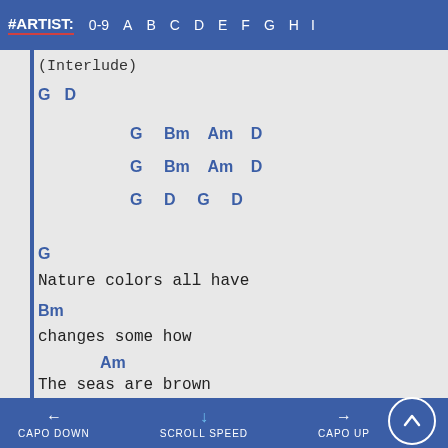#ARTIST: 0-9 A B C D E F G H I
(Interlude)
G D
G Bm Am D
G Bm Am D
G D G D
G
Nature colors all have
Bm
changes some how
Am
The seas are brown
D
← CAPO DOWN    ↓ SCROLL SPEED    → CAPO UP